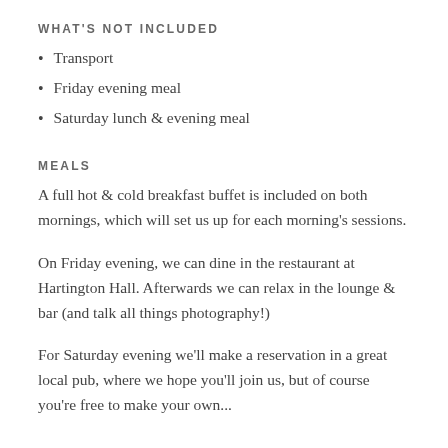WHAT'S NOT INCLUDED
Transport
Friday evening meal
Saturday lunch & evening meal
MEALS
A full hot & cold breakfast buffet is included on both mornings, which will set us up for each morning's sessions.
On Friday evening, we can dine in the restaurant at Hartington Hall. Afterwards we can relax in the lounge & bar (and talk all things photography!)
For Saturday evening we'll make a reservation in a great local pub, where we hope you'll join us, but of course you're free to make your own...